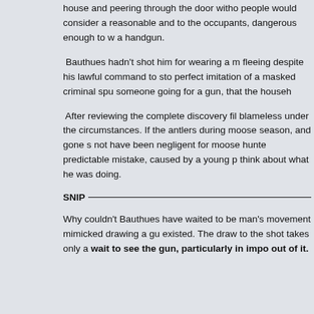house and peering through the door witho people would consider a reasonable and to the occupants, dangerous enough to w a handgun.
Bauthues hadn't shot him for wearing a m fleeing despite his lawful command to sto perfect imitation of a masked criminal spu someone going for a gun, that the househ
After reviewing the complete discovery fil blameless under the circumstances. If the antlers during moose season, and gone s not have been negligent for moose hunte predictable mistake, caused by a young p think about what he was doing.
SNIP
Why couldn't Bauthues have waited to be man's movement mimicked drawing a gu existed. The draw to the shot takes only a wait to see the gun, particularly in imp out of it.